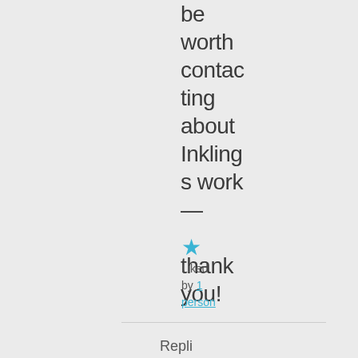be worth contacting about Inklings work — thank you!
Liked by 1 person